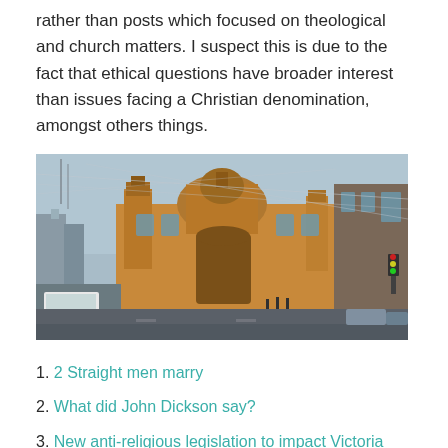rather than posts which focused on theological and church matters. I suspect this is due to the fact that ethical questions have broader interest than issues facing a Christian denomination, amongst others things.
[Figure (photo): Photograph of Flinders Street Station in Melbourne, Australia, taken from street level showing the iconic domed building with tram wires overhead and traffic in the foreground.]
1. 2 Straight men marry
2. What did John Dickson say?
3. New anti-religious legislation to impact Victoria